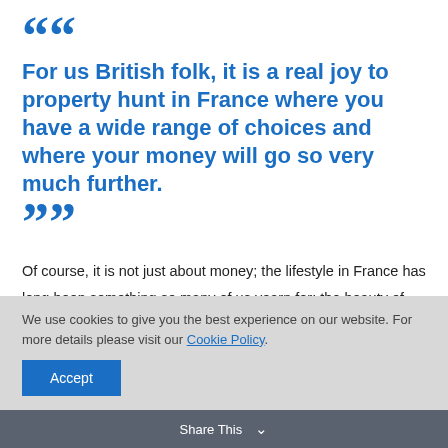““ For us British folk, it is a real joy to property hunt in France where you have a wide range of choices and where your money will go so very much further. ””
Of course, it is not just about money; the lifestyle in France has long been something so many of us yearn for: the beauty of the countryside, the quaint towns brimming with history, the rivers and mountains, the markets, the food, the wine, the history, the culture. The list really does go on and I am quite
We use cookies to give you the best experience on our website. For more details please visit our Cookie Policy.
Accept
Share This